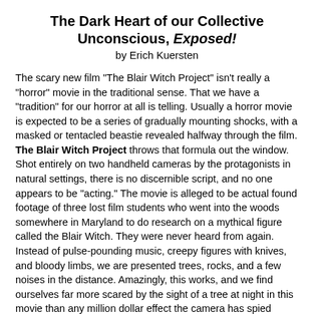The Dark Heart of our Collective Unconscious, Exposed!
by Erich Kuersten
The scary new film "The Blair Witch Project" isn't really a "horror" movie in the traditional sense. That we have a "tradition" for our horror at all is telling. Usually a horror movie is expected to be a series of gradually mounting shocks, with a masked or tentacled beastie revealed halfway through the film. The Blair Witch Project throws that formula out the window. Shot entirely on two handheld cameras by the protagonists in natural settings, there is no discernible script, and no one appears to be "acting." The movie is alleged to be actual found footage of three lost film students who went into the woods somewhere in Maryland to do research on a mythical figure called the Blair Witch. They were never heard from again. Instead of pulse-pounding music, creepy figures with knives, and bloody limbs, we are presented trees, rocks, and a few noises in the distance. Amazingly, this works, and we find ourselves far more scared by the sight of a tree at night in this movie than any million dollar effect the camera has spied Hollywood.